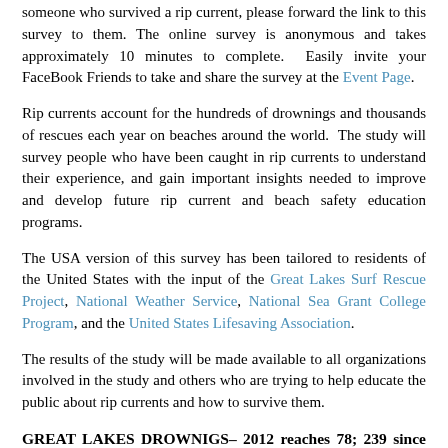someone who survived a rip current, please forward the link to this survey to them. The online survey is anonymous and takes approximately 10 minutes to complete. Easily invite your FaceBook Friends to take and share the survey at the Event Page.
Rip currents account for the hundreds of drownings and thousands of rescues each year on beaches around the world. The study will survey people who have been caught in rip currents to understand their experience, and gain important insights needed to improve and develop future rip current and beach safety education programs.
The USA version of this survey has been tailored to residents of the United States with the input of the Great Lakes Surf Rescue Project, National Weather Service, National Sea Grant College Program, and the United States Lifesaving Association.
The results of the study will be made available to all organizations involved in the study and others who are trying to help educate the public about rip currents and how to survive them.
GREAT LAKES DROWNIGS– 2012 reaches 78; 239 since 2010